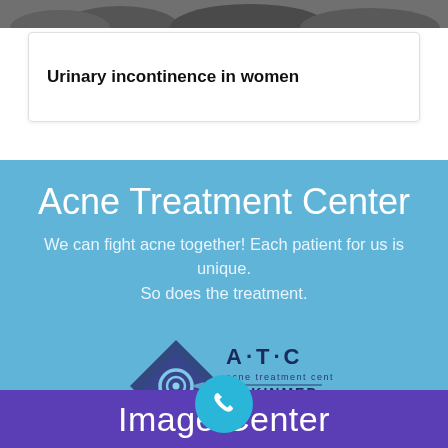[Figure (photo): Partial view of hands/people at the top of the page, cropped image bar]
Urinary incontinence in women
Acne Treatment Center
We can fight acne together! Each patient for us is unique.
So does the treatment.
[Figure (logo): A.T.C acne treatment center by SKINMED logo with diamond shape icon]
Image Center